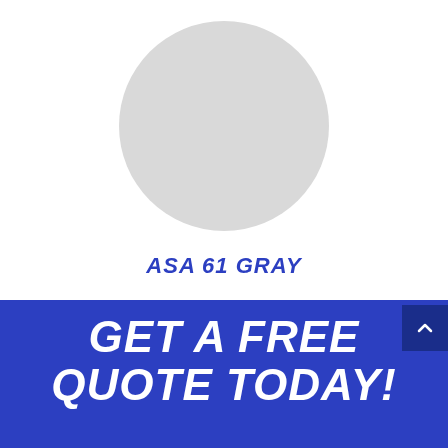[Figure (illustration): A large light gray circle centered on a white background, representing the color swatch for ASA 61 GRAY.]
ASA 61 GRAY
GET A FREE QUOTE TODAY!